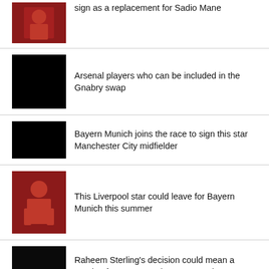[Figure (photo): Liverpool player in red kit running]
sign as a replacement for Sadio Mane
[Figure (photo): Black placeholder image]
Arsenal players who can be included in the Gnabry swap
[Figure (photo): Black placeholder image]
Bayern Munich joins the race to sign this star Manchester City midfielder
[Figure (photo): Liverpool player in red kit]
This Liverpool star could leave for Bayern Munich this summer
[Figure (photo): Black placeholder image - partial]
Raheem Sterling's decision could mean a reunion for Serge Gnabry at Arsenal